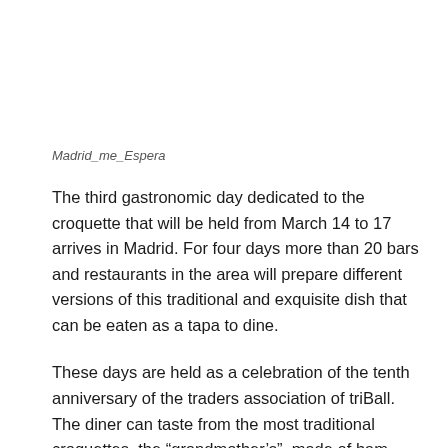Madrid_me_Espera
The third gastronomic day dedicated to the croquette that will be held from March 14 to 17 arrives in Madrid. For four days more than 20 bars and restaurants in the area will prepare different versions of this traditional and exquisite dish that can be eaten as a tapa to dine.
These days are held as a celebration of the tenth anniversary of the traders association of triBall. The diner can taste from the most traditional croquettes, the “grandmother’s”, made of ham, stew or cod, to the most modern versions, such as chori-papa criollas with Mexican seasoning in La Lonchería